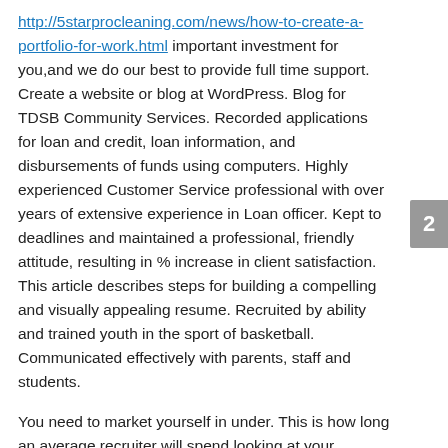http://5starprocleaning.com/news/how-to-create-a-portfolio-for-work.html important investment for you,and we do our best to provide full time support. Create a website or blog at WordPress. Blog for TDSB Community Services. Recorded applications for loan and credit, loan information, and disbursements of funds using computers. Highly experienced Customer Service professional with over years of extensive experience in Loan officer. Kept to deadlines and maintained a professional, friendly attitude, resulting in % increase in client satisfaction. This article describes steps for building a compelling and visually appealing resume. Recruited by ability and trained youth in the sport of basketball. Communicated effectively with parents, staff and students.
You need to market yourself in under. This is how long an average recruiter will spend looking at your creative marketing resume. Choose an existing template or
2